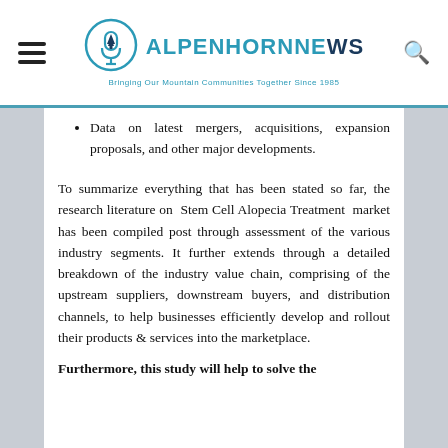ALPENHORNNEWS — Bringing Our Mountain Communities Together Since 1985
Data on latest mergers, acquisitions, expansion proposals, and other major developments.
To summarize everything that has been stated so far, the research literature on Stem Cell Alopecia Treatment market has been compiled post through assessment of the various industry segments. It further extends through a detailed breakdown of the industry value chain, comprising of the upstream suppliers, downstream buyers, and distribution channels, to help businesses efficiently develop and rollout their products & services into the marketplace.
Furthermore, this study will help to solve the